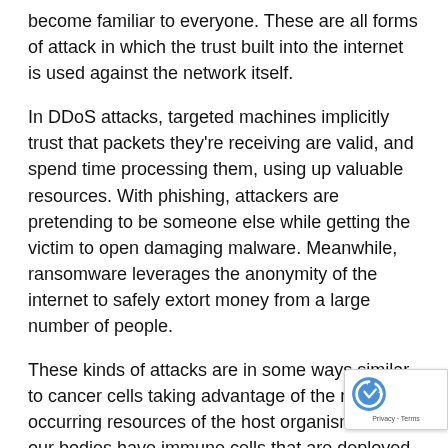become familiar to everyone. These are all forms of attack in which the trust built into the internet is used against the network itself.
In DDoS attacks, targeted machines implicitly trust that packets they're receiving are valid, and spend time processing them, using up valuable resources. With phishing, attackers are pretending to be someone else while getting the victim to open damaging malware. Meanwhile, ransomware leverages the anonymity of the internet to safely extort money from a large number of people.
These kinds of attacks are in some ways similar to cancer cells taking advantage of the naturally occurring resources of the host organism. While our bodies have immune cells that are deployed to fight tumour formation, we as a society have yet to develop the requisite immunity against cyberattacks on our global communications system.